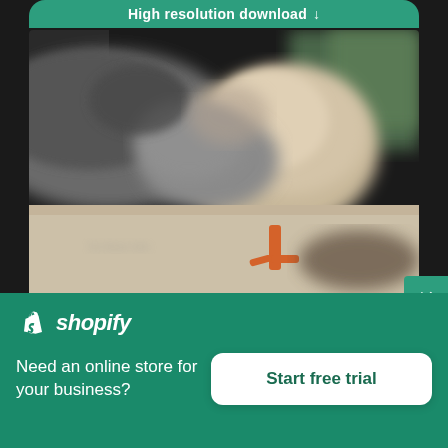High resolution download ↓
[Figure (photo): A blurred close-up photo of a bird (appears to be a pigeon or seagull) standing on a light-colored surface, with orange legs visible and blurred green background]
[Figure (logo): Shopify logo: white shopping bag icon with 'shopify' wordmark in white italic text]
Need an online store for your business?
Start free trial